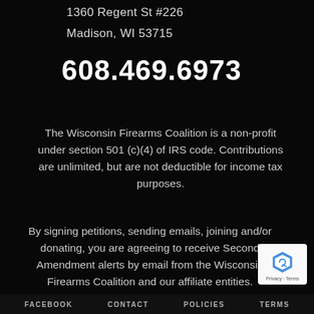1360 Regent St #226
Madison, WI 53715
608.469.6973
The Wisconsin Firearms Coalition is a non-profit under section 501 (c)(4) of IRS code. Contributions are unlimited, but are not deductible for income tax purposes.
By signing petitions, sending emails, joining and/or donating, you are agreeing to receive Second Amendment alerts by email from the Wisconsin Firearms Coalition and our affiliate entities.
FACEBOOK   CONTACT   POLICIES   TERMS